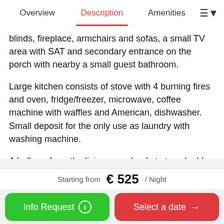Overview | Description | Amenities
blinds, fireplace, armchairs and sofas, a small TV area with SAT and secondary entrance on the porch with nearby a small guest bathroom.
Large kitchen consists of stove with 4 burning fires and oven, fridge/freezer, microwave, coffee machine with waffles and American, dishwasher.
Small deposit for the only use as laundry with washing machine.
A hallway from the living room leads to two double bedrooms, both bedrooms share a bathroom with shower
Starting from  € 525 / Night
Info Request
Select a date →